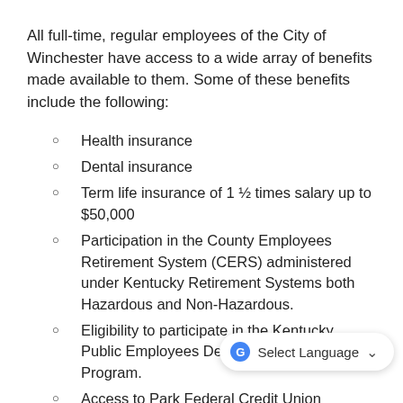All full-time, regular employees of the City of Winchester have access to a wide array of benefits made available to them. Some of these benefits include the following:
Health insurance
Dental insurance
Term life insurance of 1 ½ times salary up to $50,000
Participation in the County Employees Retirement System (CERS) administered under Kentucky Retirement Systems both Hazardous and Non-Hazardous.
Eligibility to participate in the Kentucky Public Employees Deferred Compensation Program.
Access to Park Federal Credit Union services